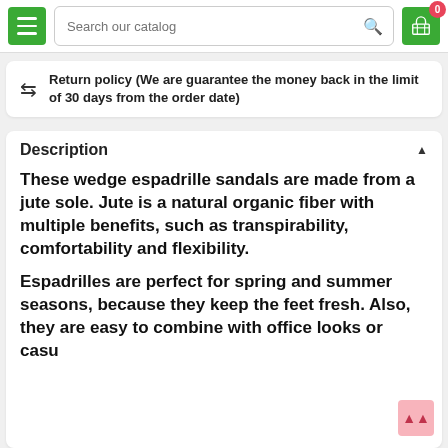Search our catalog
Return policy (We are guarantee the money back in the limit of 30 days from the order date)
Description
These wedge espadrille sandals are made from a jute sole. Jute is a natural organic fiber with multiple benefits, such as transpirability, comfortability and flexibility.
Espadrilles are perfect for spring and summer seasons, because they keep the feet fresh. Also, they are easy to combine with office looks or casual